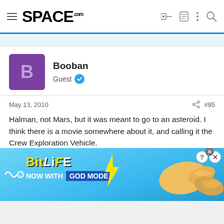SPACE.com
Booban
Guest
May 13, 2010  #95
Halman, not Mars, but it was meant to go to an asteroid. I think there is a movie somewhere about it, and calling it the Crew Exploration Vehicle.

And Constellation is old tech, but that was the whole point, old and reliable, which is better than nothing at all, which we are about to
[Figure (screenshot): BitLife advertisement banner - NOW WITH GOD MODE]